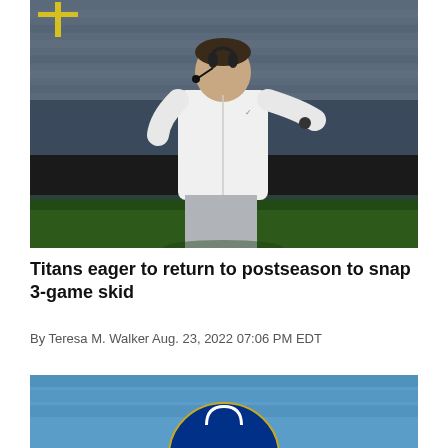[Figure (photo): A football coach wearing a white jacket and headset on the sideline, gesturing with his hand. Stadium crowd visible in background.]
Titans eager to return to postseason to snap 3-game skid
By Teresa M. Walker Aug. 23, 2022 07:06 PM EDT
[Figure (photo): Partial view of a football helmet, blue background, appears to be Indianapolis Colts related.]